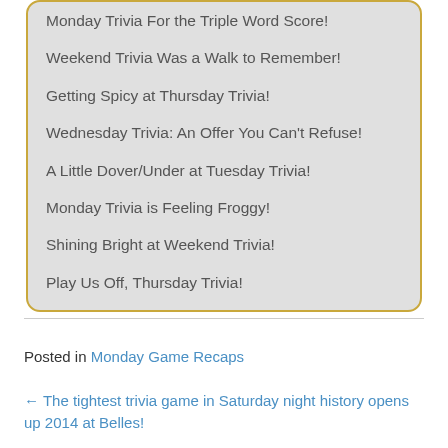Monday Trivia For the Triple Word Score!
Weekend Trivia Was a Walk to Remember!
Getting Spicy at Thursday Trivia!
Wednesday Trivia: An Offer You Can't Refuse!
A Little Dover/Under at Tuesday Trivia!
Monday Trivia is Feeling Froggy!
Shining Bright at Weekend Trivia!
Play Us Off, Thursday Trivia!
Posted in Monday Game Recaps
← The tightest trivia game in Saturday night history opens up 2014 at Belles!